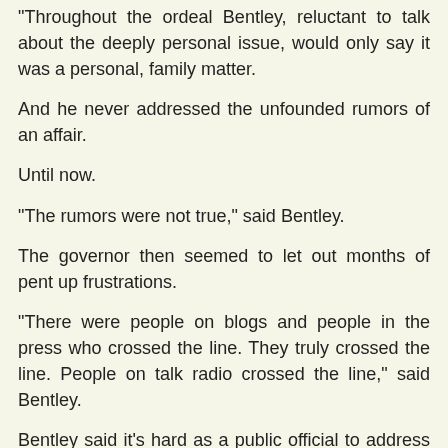Throughout the ordeal Bentley, reluctant to talk about the deeply personal issue, would only say it was a personal, family matter.
And he never addressed the unfounded rumors of an affair.
Until now.
"The rumors were not true," said Bentley.
The governor then seemed to let out months of pent up frustrations.
"There were people on blogs and people in the press who crossed the line. They truly crossed the line. People on talk radio crossed the line," said Bentley.
Bentley said it's hard as a public official to address the kind of rumors that were being spread and he said he felt to directly address them would only serve in some cases to give them credibility.
Reply